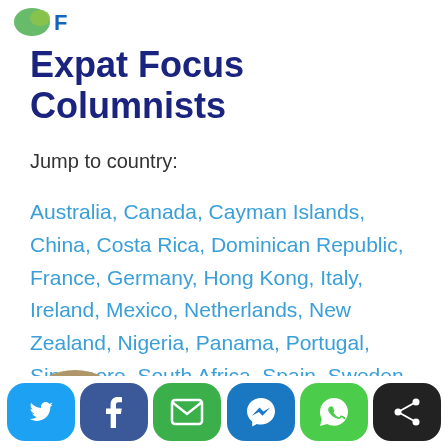Expat Focus logo (partial)
Expat Focus Columnists
Jump to country:
Australia, Canada, Cayman Islands, China, Costa Rica, Dominican Republic, France, Germany, Hong Kong, Italy, Ireland, Mexico, Netherlands, New Zealand, Nigeria, Panama, Portugal, Singapore, South Africa, Spain, Sweden, Switzerland, Thailand, UAE, UK, USA
[Figure (photo): Partial view of a person's head/photo at bottom left]
Social share buttons: Twitter, Facebook, Email, Messenger, WhatsApp, Share